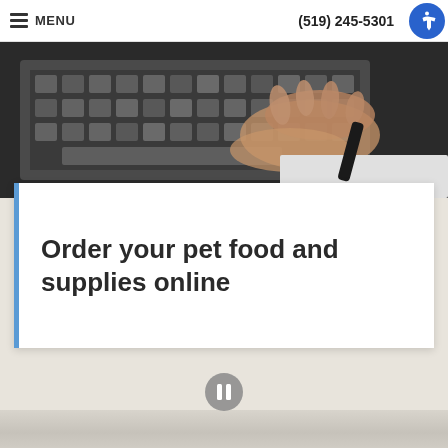MENU   (519) 245-5301
[Figure (photo): Close-up photo of hands typing on a computer keyboard]
Order your pet food and supplies online
[Figure (other): Gray circular pause button icon in the center of the page]